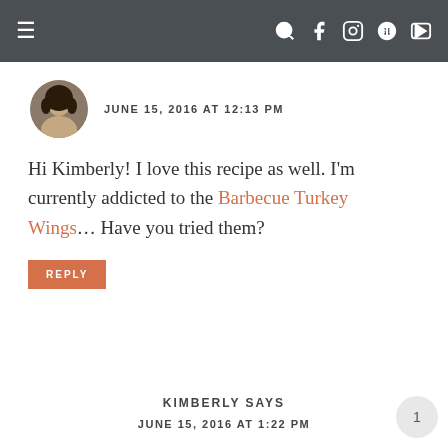Navigation bar with hamburger menu and social icons
JUNE 15, 2016 AT 12:13 PM
Hi Kimberly! I love this recipe as well. I'm currently addicted to the Barbecue Turkey Wings… Have you tried them?
REPLY
KIMBERLY SAYS
JUNE 15, 2016 AT 1:22 PM
Hi Rosie,
No I haven't yet but I will definitely